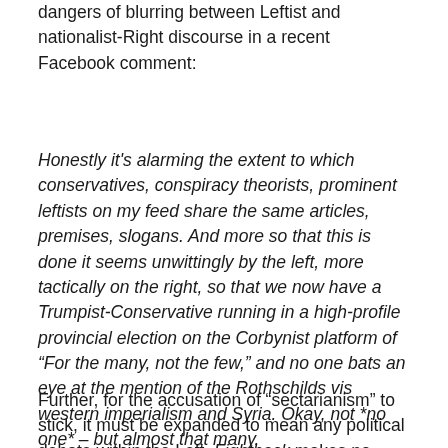dangers of blurring between Leftist and nationalist-Right discourse in a recent Facebook comment:
Honestly it's alarming the extent to which conservatives, conspiracy theorists, prominent leftists on my feed share the same articles, premises, slogans. And more so that this is done it seems unwittingly by the left, more tactically on the right, so that we now have a Trumpist-Conservative running in a high-profile provincial election on the Corbynist platform of “For the many, not the few,” and no one bats an eye at the mention of the Rothschilds vis western imperialism and Syria. Okay, not *no one* – but almost that many.
Further, for the accusation of “sectarianism” to stick, it must be expanded to mean any political debate within the Left. Fightback makes no excuse for our platform of no